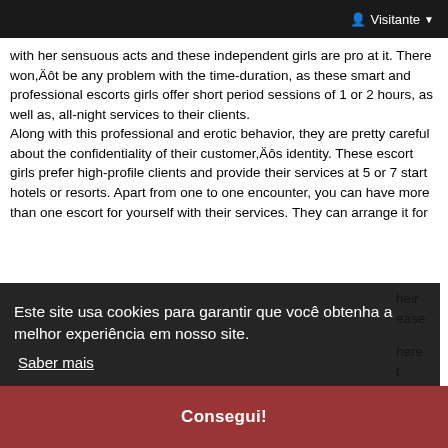Visitante
with her sensuous acts and these independent girls are pro at it. There won,Äôt be any problem with the time-duration, as these smart and professional escorts girls offer short period sessions of 1 or 2 hours, as well as, all-night services to their clients.
Along with this professional and erotic behavior, they are pretty careful about the confidentiality of their customer,Äôs identity. These escort girls prefer high-profile clients and provide their services at 5 or 7 start hotels or resorts. Apart from one to one encounter, you can have more than one escort for yourself with their services. They can arrange it for
heir
ease
here
t
rices
h our
group of independent escorts, we offer the best beauties in town at the lowest and untouchable prices. You should be
Este site usa cookies para garantir que você obtenha a melhor experiência em nosso site.
Saber mais
Consegui!